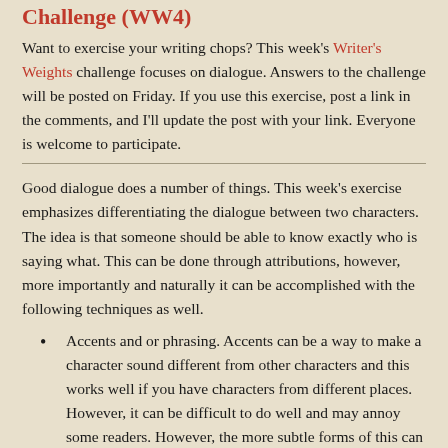Challenge (WW4)
Want to exercise your writing chops? This week's Writer's Weights challenge focuses on dialogue. Answers to the challenge will be posted on Friday. If you use this exercise, post a link in the comments, and I'll update the post with your link. Everyone is welcome to participate.
Good dialogue does a number of things. This week's exercise emphasizes differentiating the dialogue between two characters. The idea is that someone should be able to know exactly who is saying what. This can be done through attributions, however, more importantly and naturally it can be accomplished with the following techniques as well.
Accents and or phrasing. Accents can be a way to make a character sound different from other characters and this works well if you have characters from different places. However, it can be difficult to do well and may annoy some readers. However, the more subtle forms of this can be fairly useful. Especially if approached